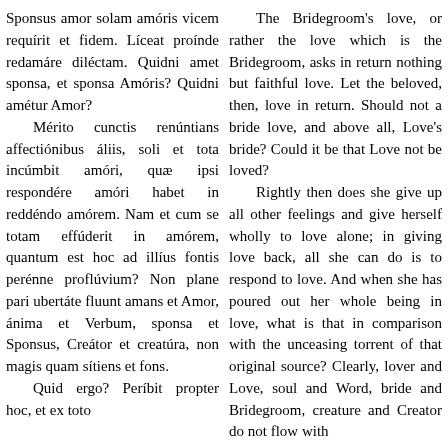Sponsus amor solam amóris vicem requírit et fidem. Líceat proínde redamáre diléctam. Quidni amet sponsa, et sponsa Amóris? Quidni amétur Amor?

Mérito cunctis renúntians affectión­ibus áliis, soli et tota incúmbit amóri, quæ ipsi respondére amóri habet in reddéndo amórem. Nam et cum se totam effúderit in amórem, quantum est hoc ad illíus fontis perénne proflúvium? Non plane pari ubertáte fluunt amans et Amor, ánima et Verbum, sponsa et Sponsus, Creátor et creatúra, non magis quam sítiens et fons.

Quid ergo? Períbit propter hoc, et ex toto
The Bridegroom's love, or rather the love which is the Bridegroom, asks in return nothing but faithful love. Let the beloved, then, love in return. Should not a bride love, and above all, Love's bride? Could it be that Love not be loved?

Rightly then does she give up all other feelings and give herself wholly to love alone; in giving love back, all she can do is to respond to love. And when she has poured out her whole being in love, what is that in comparison with the unceasing torrent of that original source? Clearly, lover and Love, soul and Word, bride and Bridegroom, creature and Creator do not flow with